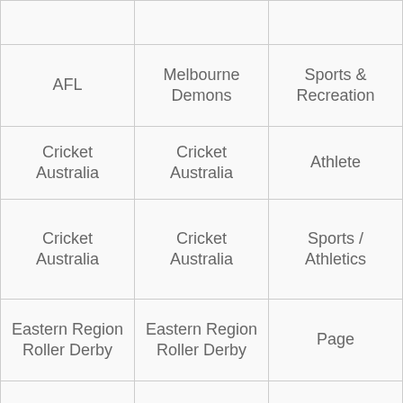| [partial top row] |  |  |
| AFL | Melbourne Demons | Sports & Recreation |
| Cricket Australia | Cricket Australia | Athlete |
| Cricket Australia | Cricket Australia | Sports / Athletics |
| Eastern Region Roller Derby | Eastern Region Roller Derby | Page |
| NRL | Canberra Raiders | Athlete |
| NBL | Wollongong Hawks | Group |
|  |  |  |